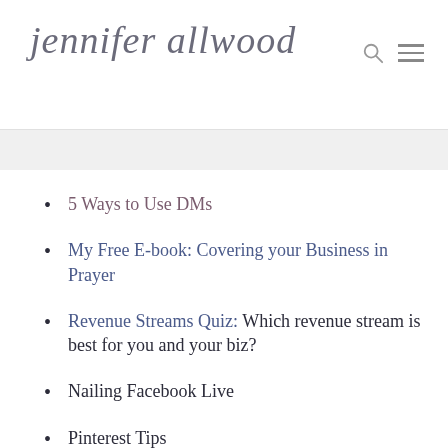jennifer allwood
5 Ways to Use DMs
My Free E-book: Covering your Business in Prayer
Revenue Streams Quiz: Which revenue stream is best for you and your biz?
Nailing Facebook Live
Pinterest Tips
I hope that gives you ideas for your own. Some of those go into my Business...